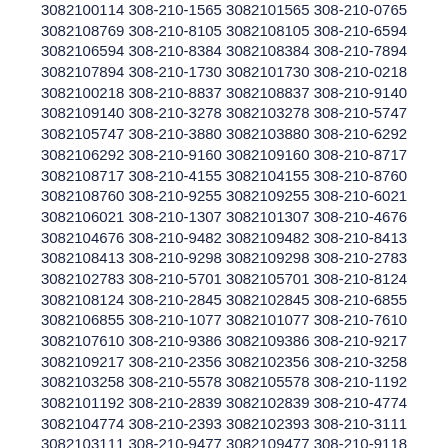3082100114 308-210-1565 3082101565 308-210-0765
3082108769 308-210-8105 3082108105 308-210-6594
3082106594 308-210-8384 3082108384 308-210-7894
3082107894 308-210-1730 3082101730 308-210-0218
3082100218 308-210-8837 3082108837 308-210-9140
3082109140 308-210-3278 3082103278 308-210-5747
3082105747 308-210-3880 3082103880 308-210-6292
3082106292 308-210-9160 3082109160 308-210-8717
3082108717 308-210-4155 3082104155 308-210-8760
3082108760 308-210-9255 3082109255 308-210-6021
3082106021 308-210-1307 3082101307 308-210-4676
3082104676 308-210-9482 3082109482 308-210-8413
3082108413 308-210-9298 3082109298 308-210-2783
3082102783 308-210-5701 3082105701 308-210-8124
3082108124 308-210-2845 3082102845 308-210-6855
3082106855 308-210-1077 3082101077 308-210-7610
3082107610 308-210-9386 3082109386 308-210-9217
3082109217 308-210-2356 3082102356 308-210-3258
3082103258 308-210-5578 3082105578 308-210-1192
3082101192 308-210-2839 3082102839 308-210-4774
3082104774 308-210-2393 3082102393 308-210-3111
3082103111 308-210-9477 3082109477 308-210-9118
3082109118 308-210-8999 3082108999 308-210-2938
3082102938 308-210-2774 3082102774 308-210-2179
3082102179 308-210-3977 3082103977 308-210-4623
3082104623 308-210-8505 3082108505 308-210-7227